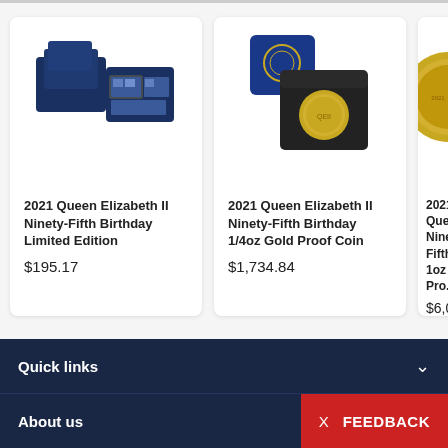[Figure (photo): Product card: 2021 Queen Elizabeth II Ninety-Fifth Birthday Limited Edition - dark blue presentation boxes open showing stamp collection]
2021 Queen Elizabeth II Ninety-Fifth Birthday Limited Edition
$195.17
[Figure (photo): Product card: 2021 Queen Elizabeth II Ninety-Fifth Birthday 1/4oz Gold Proof Coin - blue box and open black box with gold coin]
2021 Queen Elizabeth II Ninety-Fifth Birthday 1/4oz Gold Proof Coin
$1,734.84
[Figure (photo): Product card (partial): 2021 Queen Elizabeth II Ninety-Fifth Birthday 1oz Gold Pro... - gold coin visible, red badge]
2021 Queen Elizabeth II Ninety-Fifth Birthday 1oz Gold Pro...
$6,070.49
Quick links
About us
FEEDBACK